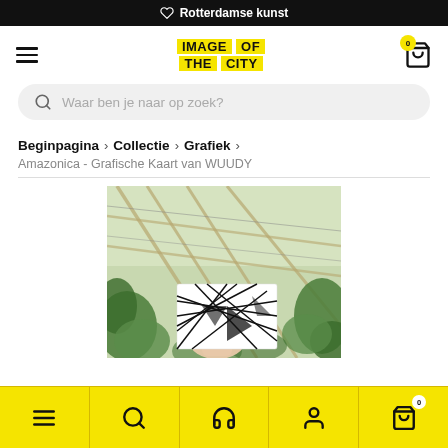♡ Rotterdamse kunst
[Figure (logo): IMAGE OF THE CITY logo with yellow background blocks]
Waar ben je naar op zoek?
Beginpagina > Collectie > Grafiek >
Amazonica - Grafische Kaart van WUUDY
[Figure (photo): Hand holding a black geometric graphic art card inside a greenhouse with plants and glass roof structure]
Bottom navigation bar with menu, search, headset, profile, and cart icons